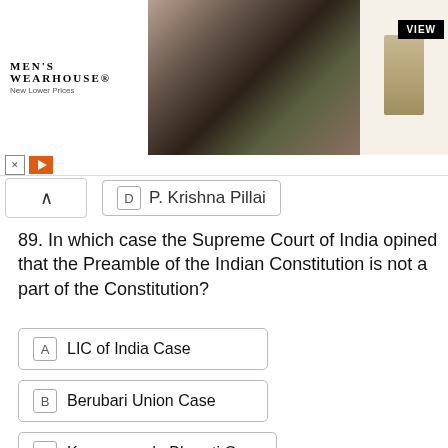[Figure (photo): Men's Wearhouse advertisement banner showing a couple in formal wear and a man in a tan suit, with VIEW button]
D  P. Krishna Pillai
89. In which case the Supreme Court of India opined that the Preamble of the Indian Constitution is not a part of the Constitution?
A  LIC of India Case
B  Berubari Union Case
C  Kesavananda Bharati Case
D  Nanavati Case